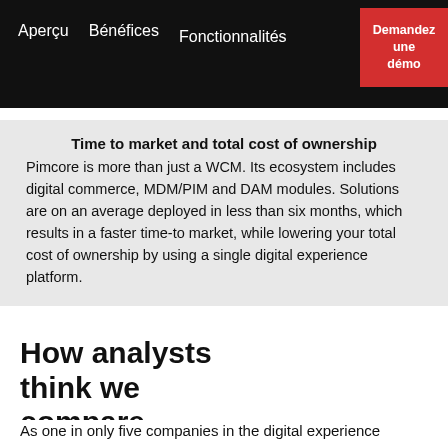Aperçu   Bénéfices   Fonctionnalités
Demandez une démo
Time to market and total cost of ownership
Pimcore is more than just a WCM. Its ecosystem includes digital commerce, MDM/PIM and DAM modules. Solutions are on an average deployed in less than six months, which results in a faster time-to market, while lowering your total cost of ownership by using a single digital experience platform.
How analysts think we compare
As one in only five companies in the digital experience